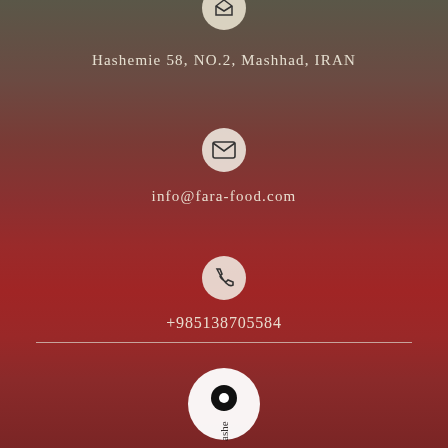[Figure (illustration): Small circular icon with envelope/mail symbol on light beige background, partially visible at top]
Hashemie 58, NO.2, Mashhad, IRAN
[Figure (illustration): Circular icon with envelope/mail symbol on light background]
info@fara-food.com
[Figure (illustration): Circular icon with phone handset symbol on light background]
+985138705584
[Figure (illustration): Horizontal divider line]
[Figure (illustration): Large white circular icon with black map pin/location marker symbol]
ashe